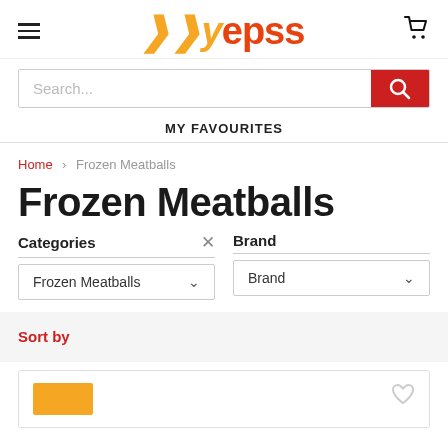[Figure (logo): Yepss logo with hamburger menu and shopping cart icon in header]
Search...
MY FAVOURITES
Home > Frozen Meatballs
Frozen Meatballs
Categories  ×  Brand
Frozen Meatballs ∨   Brand ∨
Sort by
[Figure (other): Partial product card at the bottom with orange image placeholder and heart icon]